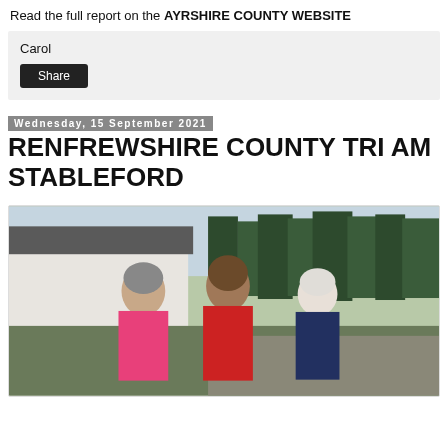Read the full report on the AYRSHIRE COUNTY WEBSITE
Carol
Share
Wednesday, 15 September 2021
RENFREWSHIRE COUNTY TRI AM STABLEFORD
[Figure (photo): Three women golfers standing outdoors in front of trees and a building. Left woman wears pink polo shirt, centre woman wears red vest over white shirt, right woman wears navy patterned vest over pink shirt.]